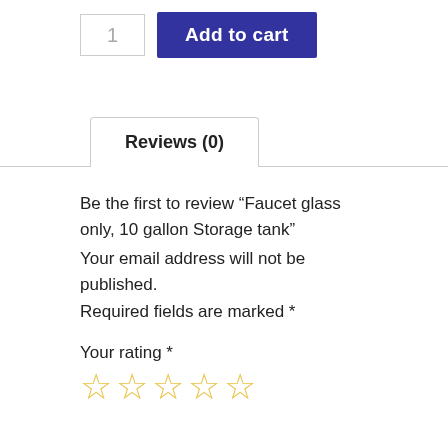[Figure (screenshot): Quantity input box showing '1' and a dark blue 'Add to cart' button]
Reviews (0)
Be the first to review “Faucet glass only, 10 gallon Storage tank”
Your email address will not be published. Required fields are marked *
Your rating *
[Figure (other): Five empty star rating icons in yellow/gold outline]